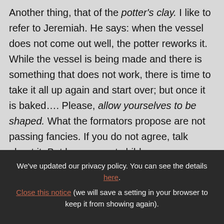Another thing, that of the potter's clay. I like to refer to Jeremiah. He says: when the vessel does not come out well, the potter reworks it. While the vessel is being made and there is something that does not work, there is time to take it all up again and start over; but once it is baked.... Please, allow yourselves to be shaped. What the formators propose are not passing fancies. If you do not agree, talk about it. But be men, not children, courageous men, and tell the rector: 'I do not agree with this; I do not
We've updated our privacy policy. You can see the details here. Close this notice (we will save a setting in your browser to keep it from showing again).